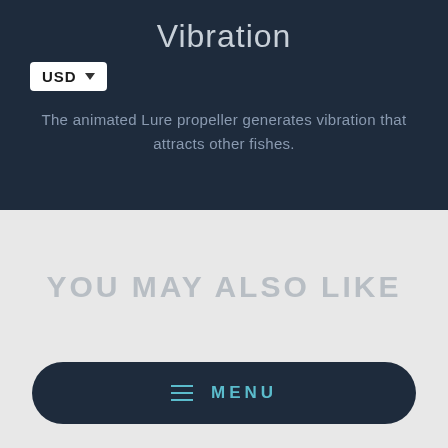Vibration
[Figure (other): USD currency selector button with dropdown arrow]
The animated Lure propeller generates vibration that attracts other fishes.
YOU MAY ALSO LIKE
[Figure (other): Menu button with hamburger icon lines and MENU text label]